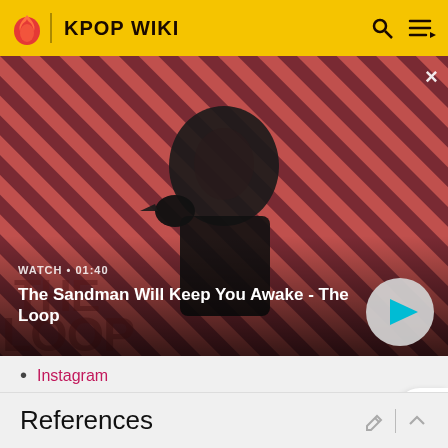KPOP WIKI
[Figure (screenshot): Video thumbnail showing a dark figure with a raven on shoulder, diagonal red/dark stripe background. Title: The Sandman Will Keep You Awake - The Loop. WATCH • 01:40 with play button.]
Instagram
Twitter
References